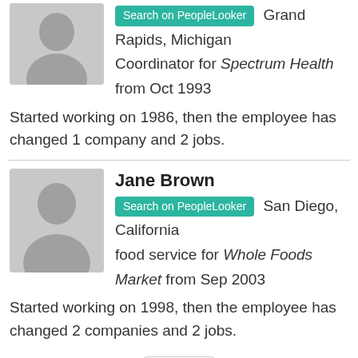[Figure (photo): Gray placeholder avatar silhouette for first person (partial, cropped at top)]
Search on PeopleLooker  Grand Rapids, Michigan
Coordinator for Spectrum Health from Oct 1993
Started working on 1986, then the employee has changed 1 company and 2 jobs.
[Figure (photo): Gray placeholder avatar silhouette for Jane Brown]
Jane Brown
Search on PeopleLooker  San Diego, California
food service for Whole Foods Market from Sep 2003
Started working on 1998, then the employee has changed 2 companies and 2 jobs.